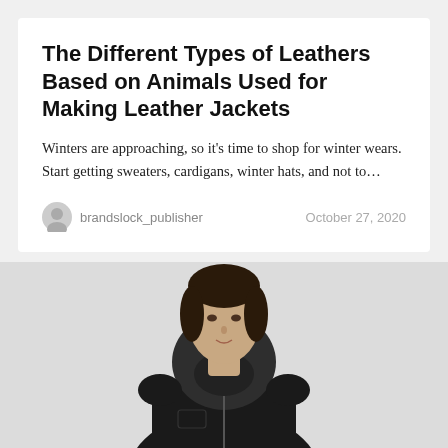The Different Types of Leathers Based on Animals Used for Making Leather Jackets
Winters are approaching, so it's time to shop for winter wears. Start getting sweaters, cardigans, winter hats, and not to…
brandslock_publisher    October 27, 2020
[Figure (photo): A woman wearing a black leather hooded jacket, photographed from the chest up against a white background.]